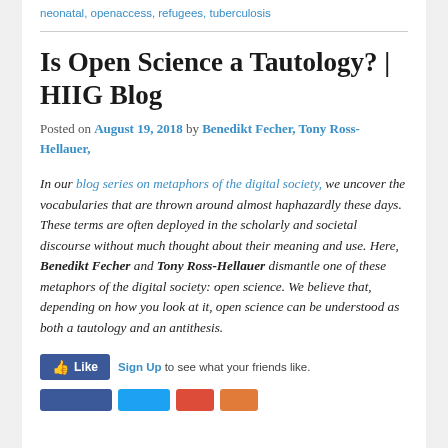neonatal, openaccess, refugees, tuberculosis
Is Open Science a Tautology? | HIIG Blog
Posted on August 19, 2018 by Benedikt Fecher, Tony Ross-Hellauer,
In our blog series on metaphors of the digital society, we uncover the vocabularies that are thrown around almost haphazardly these days. These terms are often deployed in the scholarly and societal discourse without much thought about their meaning and use. Here, Benedikt Fecher and Tony Ross-Hellauer dismantle one of these metaphors of the digital society: open science. We believe that, depending on how you look at it, open science can be understood as both a tautology and an antithesis.
Like Sign Up to see what your friends like.